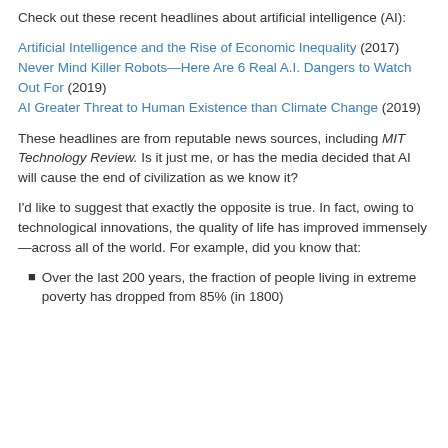Check out these recent headlines about artificial intelligence (AI):
Artificial Intelligence and the Rise of Economic Inequality (2017)
Never Mind Killer Robots—Here Are 6 Real A.I. Dangers to Watch Out For (2019)
AI Greater Threat to Human Existence than Climate Change (2019)
These headlines are from reputable news sources, including MIT Technology Review. Is it just me, or has the media decided that AI will cause the end of civilization as we know it?
I'd like to suggest that exactly the opposite is true. In fact, owing to technological innovations, the quality of life has improved immensely—across all of the world. For example, did you know that:
Over the last 200 years, the fraction of people living in extreme poverty has dropped from 85% (in 1800)